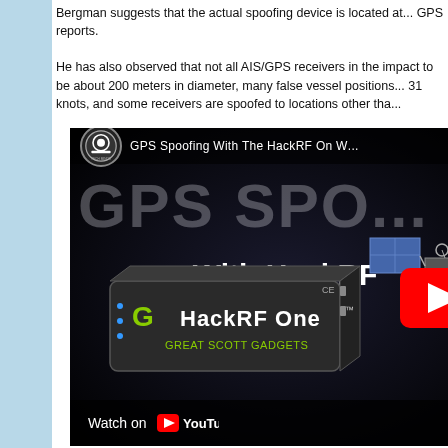Bergman suggests that the actual spoofing device is located at... GPS reports.
He has also observed that not all AIS/GPS receivers in the impact area... to be about 200 meters in diameter, many false vessel positions... 31 knots, and some receivers are spoofed to locations other tha...
[Figure (screenshot): YouTube video thumbnail for 'GPS Spoofing With The HackRF On W...' by Tech Minds channel. Shows large text 'GPS SPO...' and 'With HackRF' on a dark background, with a satellite graphic, a YouTube play button (red), and a HackRF One device (Great Scott Gadgets). Bottom bar reads 'Watch on YouTube'.]